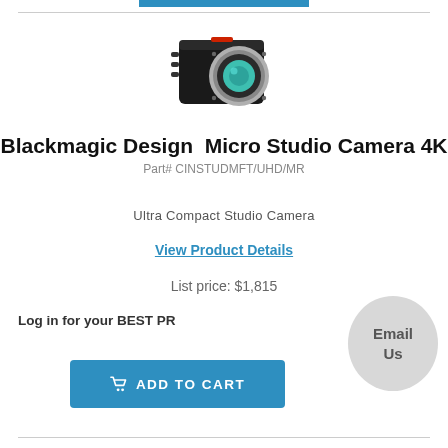[Figure (photo): Blackmagic Design Micro Studio Camera 4K product photo — small cube-shaped black camera body with a teal-green lens mount and circular lens]
Blackmagic Design  Micro Studio Camera 4K
Part# CINSTUDMFT/UHD/MR
Ultra Compact Studio Camera
View Product Details
List price: $1,815
Log in for your BEST PR
[Figure (other): Gray circular bubble/badge with text 'Email Us']
ADD TO CART